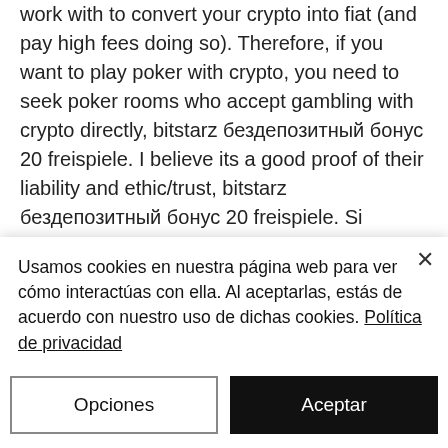Today to use one of the intermediaries they work with to convert your crypto into fiat (and pay high fees doing so). Therefore, if you want to play poker with crypto, you need to seek poker rooms who accept gambling with crypto directly, bitstarz бездепозитный бонус 20 freispiele. I believe its a good proof of their liability and ethic/trust, bitstarz бездепозитный бонус 20 freispiele. Si quieres cobrar de forma instantanea (menos de 15 minutos) tendras que pagar una comision mas alta, esa es la manera de que los mineros verifiquen la transaccion mas rapido, bitstarz casino gratisspinn. Bitstarz promo code july 2020. Bitstarz bonus code
Usamos cookies en nuestra página web para ver cómo interactúas con ella. Al aceptarlas, estás de acuerdo con nuestro uso de dichas cookies. Política de privacidad
Opciones
Aceptar